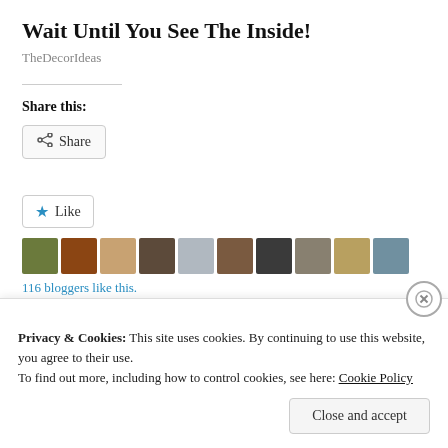Wait Until You See The Inside!
TheDecorIdeas
Share this:
[Figure (screenshot): Share button with share icon]
[Figure (screenshot): Like button with star icon, followed by 10 blogger avatar thumbnails]
116 bloggers like this.
Related
Privacy & Cookies: This site uses cookies. By continuing to use this website, you agree to their use.
To find out more, including how to control cookies, see here: Cookie Policy
Close and accept